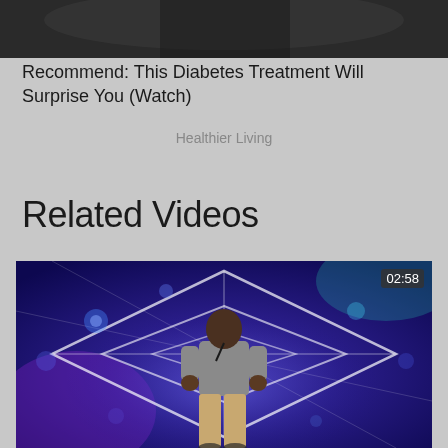[Figure (photo): Top portion of an advertisement image, partially cropped, showing a dark object on a dark background]
Recommend: This Diabetes Treatment Will Surprise You (Watch)
Healthier Living
Related Videos
[Figure (screenshot): Video thumbnail showing a man standing on a blue glowing stage with diamond/geometric light patterns, wearing tan pants and gray shirt. A duration badge shows 02:58 in the top right corner.]